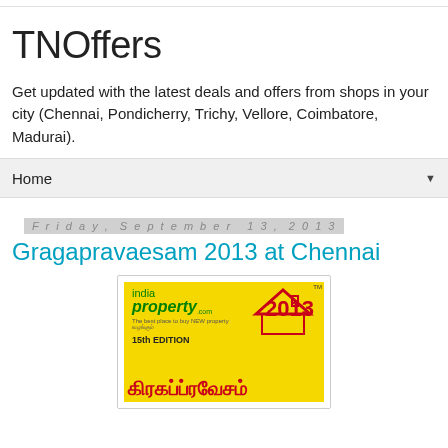TNOffers
Get updated with the latest deals and offers from shops in your city (Chennai, Pondicherry, Trichy, Vellore, Coimbatore, Madurai).
Home ▼
Friday, September 13, 2013
Gragapravaesam 2013 at Chennai
[Figure (photo): India Property website advertisement poster for Gragapravaesam 2013 - 15th Edition, yellow background with green India Property logo, red house icon, year 2013 in red, and Tamil script title in red at bottom]